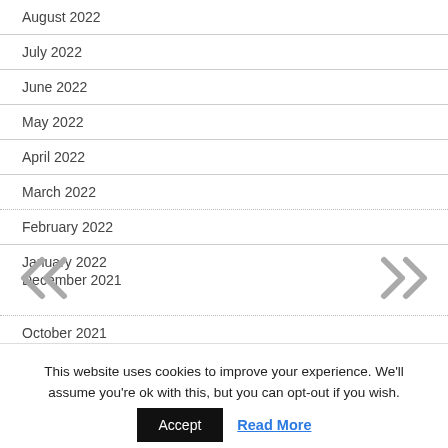August 2022
July 2022
June 2022
May 2022
April 2022
March 2022
February 2022
January 2022
December 2021
October 2021
This website uses cookies to improve your experience. We'll assume you're ok with this, but you can opt-out if you wish.
Accept
Read More